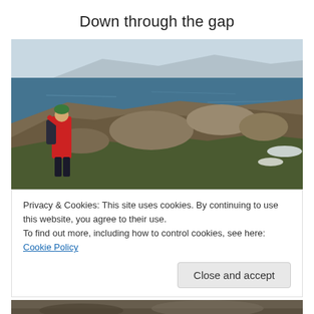Down through the gap
[Figure (photo): Person in red jacket and green hat standing on rocky coastal cliff with sea and mountains in background]
Privacy & Cookies: This site uses cookies. By continuing to use this website, you agree to their use.
To find out more, including how to control cookies, see here: Cookie Policy
Close and accept
[Figure (photo): Bottom portion of another photo visible, showing rocky or natural texture]